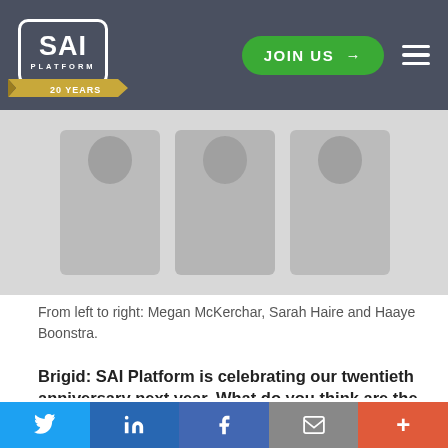SAI PLATFORM — JOIN US
[Figure (photo): Photo of three people from left to right: Megan McKerchar, Sarah Haire and Haaye Boonstra.]
From left to right: Megan McKerchar, Sarah Haire and Haaye Boonstra.
Brigid: SAI Platform is celebrating our twentieth anniversary next year. What do you think are the key issues for the food and drink industry and how do you see them developing as we look to the future?
Twitter | LinkedIn | Facebook | Email | +